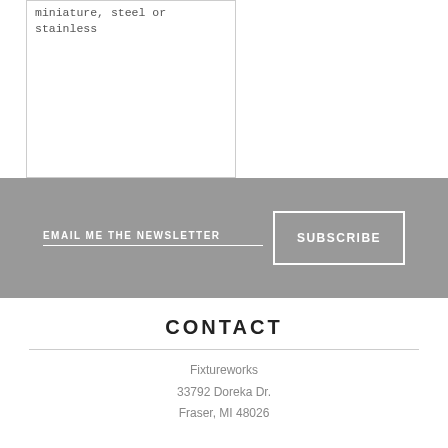miniature, steel or stainless
EMAIL ME THE NEWSLETTER
SUBSCRIBE
CONTACT
Fixtureworks
33792 Doreka Dr.
Fraser, MI 48026